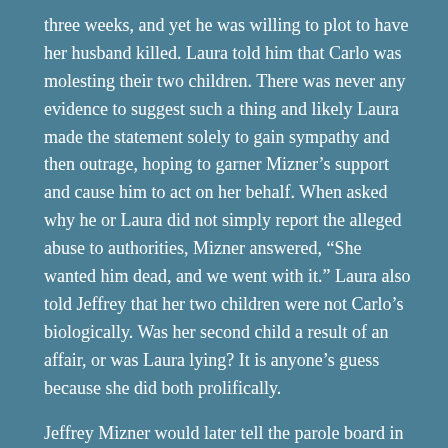three weeks, and yet he was willing to plot to have her husband killed. Laura told him that Carlo was molesting their two children. There was never any evidence to suggest such a thing and likely Laura made the statement solely to gain sympathy and then outrage, hoping to garner Mizner's support and cause him to act on her behalf. When asked why he or Laura did not simply report the alleged abuse to authorities, Mizner answered, “She wanted him dead, and we went with it.” Laura also told Jeffrey that her two children were not Carlo’s biologically. Was her second child a result of an affair, or was Laura lying? It is anyone’s guess because she did both prolifically.
Jeffrey Mizner would later tell the parole board in his case that he never slept with Laura Troiani, and that his